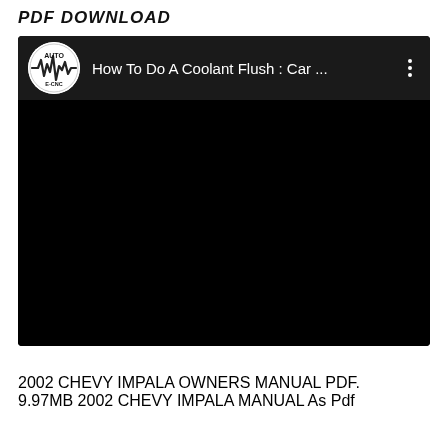PDF DOWNLOAD
[Figure (screenshot): Embedded video player thumbnail showing a YouTube-style video titled 'How To Do A Coolant Flush : Car ...' with a channel logo for Auto E-CNC. The video frame is black (not playing). A three-dot menu icon is visible in the top right of the player.]
2002 CHEVY IMPALA OWNERS MANUAL PDF. 9.97MB 2002 CHEVY IMPALA MANUAL As Pdf